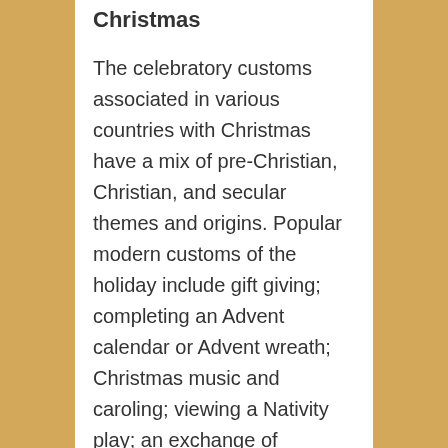Christmas
The celebratory customs associated in various countries with Christmas have a mix of pre-Christian, Christian, and secular themes and origins. Popular modern customs of the holiday include gift giving; completing an Advent calendar or Advent wreath; Christmas music and caroling; viewing a Nativity play; an exchange of Christmas cards; church services; a special meal; and the display of various